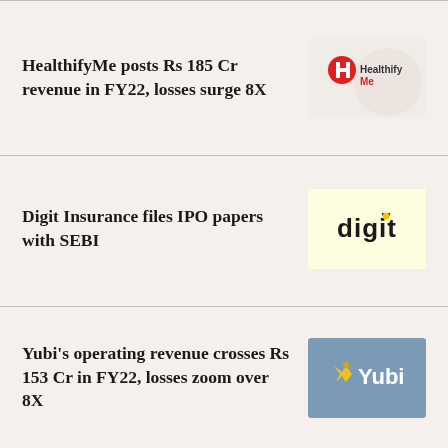HealthifyMe posts Rs 185 Cr revenue in FY22, losses surge 8X
[Figure (logo): HealthifyMe logo: red circle with white H icon and HealthifyMe text]
Digit Insurance files IPO papers with SEBI
[Figure (logo): Digit Insurance logo: 'digit' wordmark with yellow dot over 'i' on cream background]
Yubi's operating revenue crosses Rs 153 Cr in FY22, losses zoom over 8X
[Figure (logo): Yubi logo: white bird icon and Yubi text on steel blue background]